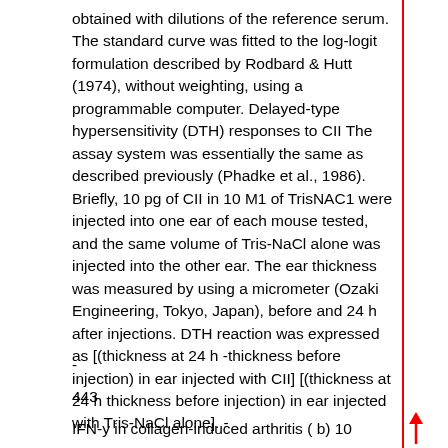obtained with dilutions of the reference serum. The standard curve was fitted to the log-logit formulation described by Rodbard & Hutt (1974), without weighting, using a programmable computer. Delayed-type hypersensitivity (DTH) responses to CII The assay system was essentially the same as described previously (Phadke et al., 1986). Briefly, 10 pg of CII in 10 M1 of TrisNAC1 were injected into one ear of each mouse tested, and the same volume of Tris-NaCl alone was injected into the other ear. The ear thickness was measured by using a micrometer (Ozaki Engineering, Tokyo, Japan), before and 24 h after injections. DTH reaction was expressed as [(thickness at 24 h -thickness before injection) in ear injected with CII] [(thickness at 24 h thickness before injection) in ear injected with Tris-NaCl alone]. -
-
443
IFN-y in collagen-induced arthritis ( b) 10